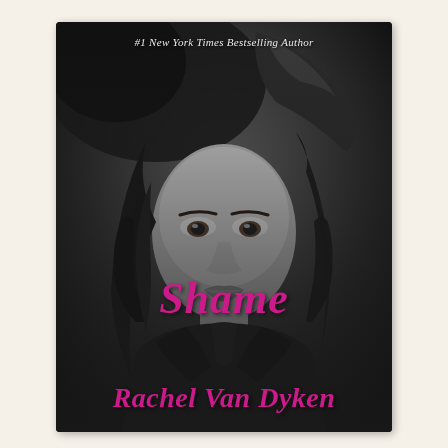[Figure (photo): Book cover for 'Shame' by Rachel Van Dyken. Black and white photo of a young woman with long wavy dark hair, wearing a black leather jacket, hand raised to her head. Text overlay at top reads '#1 New York Times Bestselling Author' in white. Large title 'Shame' in magenta/pink italic serif font in lower portion. Author name 'Rachel Van Dyken' in magenta/pink italic serif font at very bottom.]
#1 New York Times Bestselling Author
Shame
Rachel Van Dyken